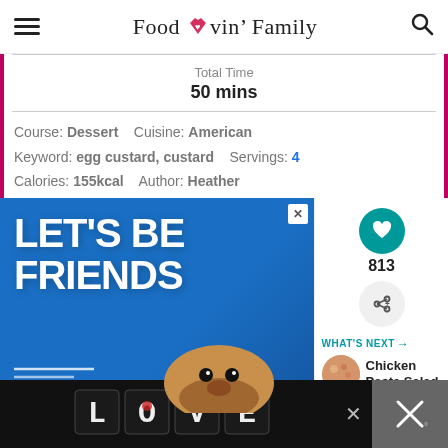Food Lovin' Family
Total Time
50 mins
Course: Dessert   Cuisine: American
Keyword: egg custard, custard   Servings: 4
Calories: 155kcal   Author: Heather
[Figure (screenshot): Blue advertisement banner reading LET'S BE FRIENDS with a dog image]
[Figure (screenshot): What's Next panel showing Chicken Pasta Salad with a circular food image and teal arrow header]
[Figure (screenshot): Bottom black advertisement bar with LOVE text in decorative font and X close button]